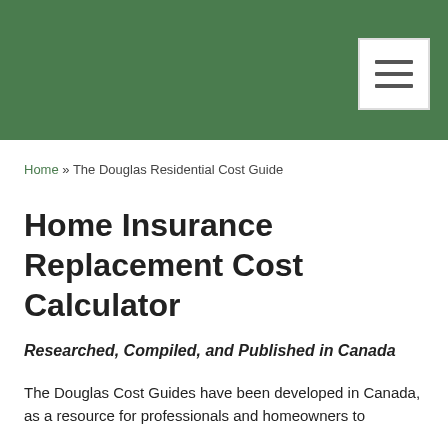Home » The Douglas Residential Cost Guide
Home Insurance Replacement Cost Calculator
Researched, Compiled, and Published in Canada
The Douglas Cost Guides have been developed in Canada, as a resource for professionals and homeowners to